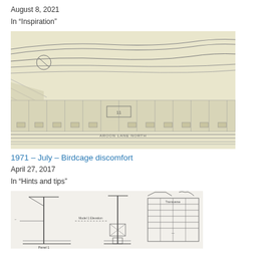August 8, 2021
In "Inspiration"
[Figure (schematic): Detailed technical/architectural railway track plan drawing in pencil or ink on cream paper, showing curved and straight rail lines, platform areas, and hatching details.]
1971 – July – Birdcage discomfort
April 27, 2017
In "Hints and tips"
[Figure (engineering-diagram): Technical engineering/structural drawing showing crane or gantry structures with elevation views and a cross-section detail table on the right side.]